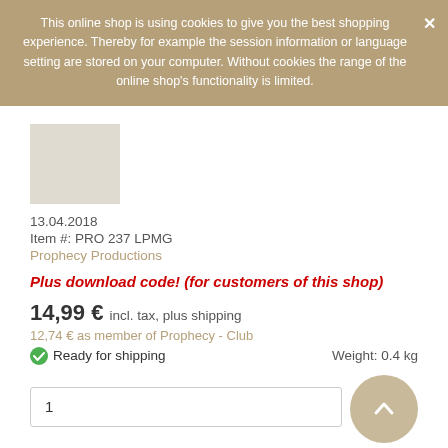This online shop is using cookies to give you the best shopping experience. Thereby for example the session information or language setting are stored on your computer. Without cookies the range of the online shop's functionality is limited.
13.04.2018
Item #: PRO 237 LPMG
Prophecy Productions
Plus download code! (for customers of this shop)
14,99 € incl. tax, plus shipping
12,74 € as member of Prophecy - Club
Ready for shipping
Weight: 0.4 kg
ADD TO CART